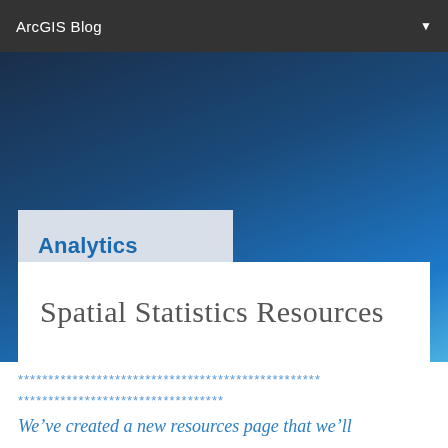ArcGIS Blog
[Figure (screenshot): ArcGIS Blog website header with dark navy-to-blue gradient background]
Analytics
Spatial Statistics Resources
************************************************** **********************************
We’ve created a new resources page that we’ll